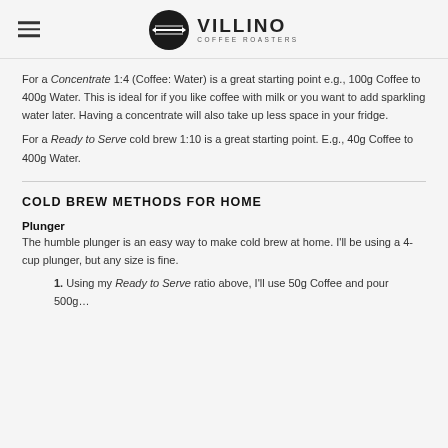VILLINO COFFEE ROASTERS
For a Concentrate 1:4 (Coffee: Water) is a great starting point e.g., 100g Coffee to 400g Water. This is ideal for if you like coffee with milk or you want to add sparkling water later. Having a concentrate will also take up less space in your fridge.
For a Ready to Serve cold brew 1:10 is a great starting point. E.g., 40g Coffee to 400g Water.
COLD BREW METHODS FOR HOME
Plunger
The humble plunger is an easy way to make cold brew at home. I'll be using a 4-cup plunger, but any size is fine.
1. Using my Ready to Serve ratio above, I'll use 50g Coffee and pour 500...